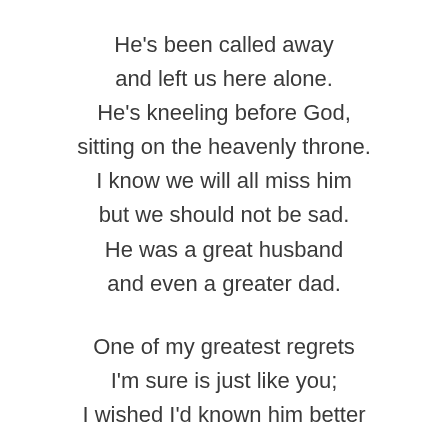He's been called away
and left us here alone.
He's kneeling before God,
sitting on the heavenly throne.
I know we will all miss him
but we should not be sad.
He was a great husband
and even a greater dad.
One of my greatest regrets
I'm sure is just like you;
I wished I'd known him better